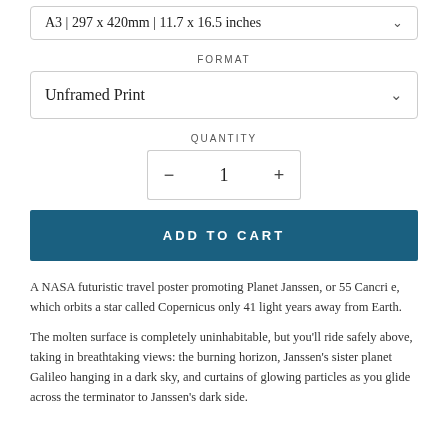A3 | 297 x 420mm | 11.7 x 16.5 inches
FORMAT
Unframed Print
QUANTITY
1
ADD TO CART
A NASA futuristic travel poster promoting Planet Janssen, or 55 Cancri e, which orbits a star called Copernicus only 41 light years away from Earth.
The molten surface is completely uninhabitable, but you'll ride safely above, taking in breathtaking views: the burning horizon, Janssen's sister planet Galileo hanging in a dark sky, and curtains of glowing particles as you glide across the terminator to Janssen's dark side.